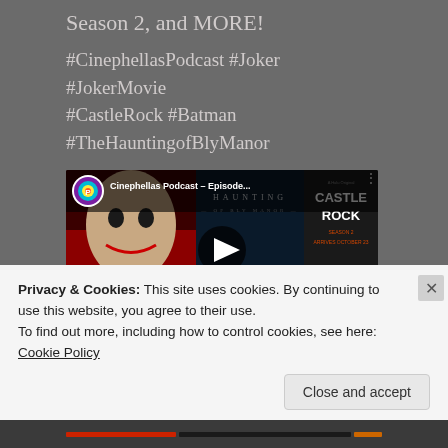Season 2, and MORE!
#CinephellasPodcast #Joker #JokerMovie #CastleRock #Batman #TheHauntingofBlyManor
[Figure (screenshot): YouTube video thumbnail for Cinephellas Podcast episode featuring Joker, The Haunting of Bly Manor, and Castle Rock imagery with a play button overlay]
Privacy & Cookies: This site uses cookies. By continuing to use this website, you agree to their use.
To find out more, including how to control cookies, see here: Cookie Policy
Close and accept